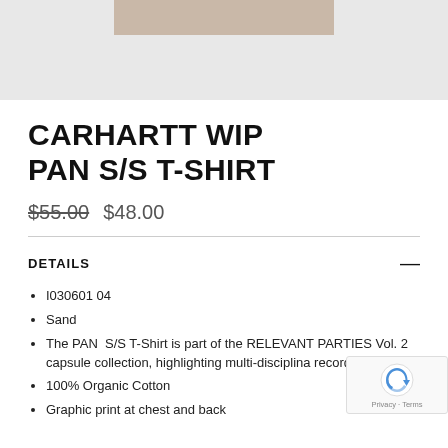[Figure (photo): Product image area with light grey background and beige/tan colored product image at top]
CARHARTT WIP PAN S/S T-SHIRT
$55.00 $48.00
DETAILS
I030601 04
Sand
The PAN S/S T-Shirt is part of the RELEVANT PARTIES Vol. 2 capsule collection, highlighting multi-disciplina record label PAN
100% Organic Cotton
Graphic print at chest and back